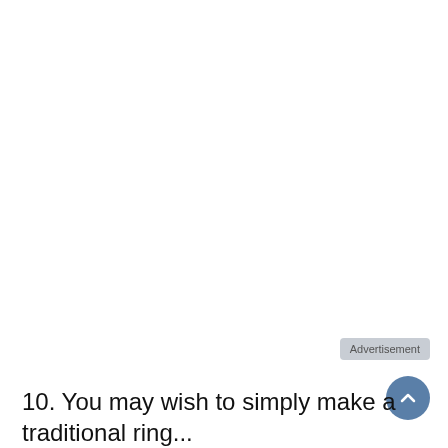Advertisement
10. You may wish to simply make a traditional ring...